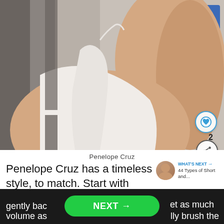[Figure (photo): Close-up side profile photo of a person wearing a white halter top dress, with a blurred blue and grey background showing letters 'FE'. Social media UI overlays visible including a heart button showing '2' likes and a share button.]
Penelope Cruz
WHAT'S NEXT → 44 Types of Short and...
Penelope Cruz has a timeless style, to match. Start with plenty of root spray and
gently bac
et as much volume as
lly brush the